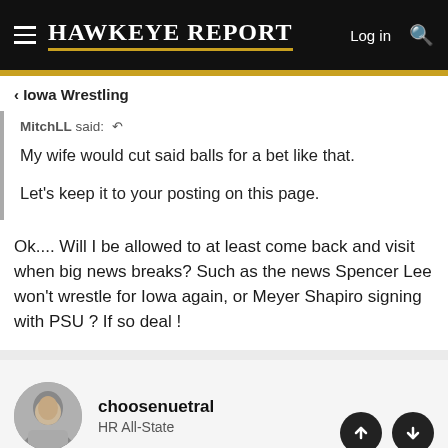HAWKEYE REPORT  Log in
< Iowa Wrestling
MitchLL said: ↩
My wife would cut said balls for a bet like that.
Let's keep it to your posting on this page.
Ok.... Will I be allowed to at least come back and visit when big news breaks? Such as the news Spencer Lee won't wrestle for Iowa again, or Meyer Shapiro signing with PSU ? If so deal !
choosenuetral
HR All-State